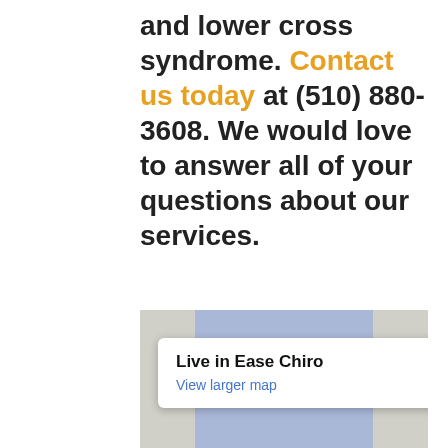and lower cross syndrome. Contact us today at (510) 880-3608. We would love to answer all of your questions about our services.
[Figure (map): Google Maps embed showing Live in Ease Chiro location with a popup tooltip displaying the business name and a 'View larger map' link. The map shows a blue shaded area (likely a road or block) on a grey background.]